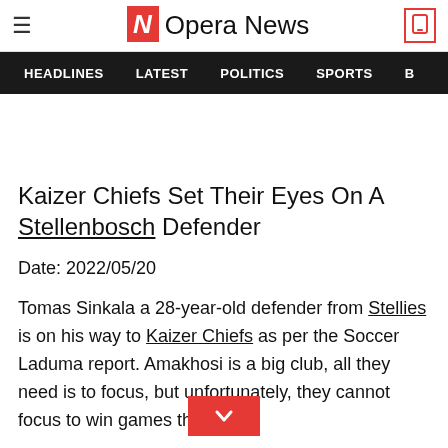Opera News
HEADLINES   LATEST   POLITICS   SPORTS   B
Kaizer Chiefs Set Their Eyes On A Stellenbosch Defender
Date: 2022/05/20
Tomas Sinkala a 28-year-old defender from Stellies is on his way to Kaizer Chiefs as per the Soccer Laduma report. Amakhosi is a big club, all they need is to focus, but unfortunately, they cannot focus to win games the young